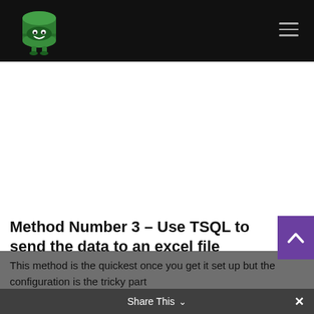[Figure (logo): Green cartoon database character mascot with a smiling face, on a black navigation bar with a hamburger menu icon on the right]
Method Number 3 – Use TSQL to send the data to an excel file
This method is the quickest once you get it set up but the configuration is the tricky part